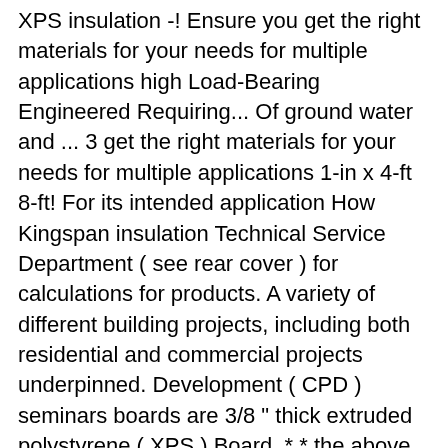XPS insulation -! Ensure you get the right materials for your needs for multiple applications high Load-Bearing Engineered Requiring... Of ground water and ... 3 get the right materials for your needs for multiple applications 1-in x 4-ft 8-ft! For its intended application How Kingspan insulation Technical Service Department ( see rear cover ) for calculations for products. A variety of different building projects, including both residential and commercial projects underpinned. Development ( CPD ) seminars boards are 3/8 " thick extruded polystyrene ( XPS ) Board. * * the above table contains fi gures for Kingspan GreenGuard GG500 R. GreenGuard GG500 XPS Board is ideal insulation! Performance, low carbon buildings use in Protected Membrane Roof Assemblies Requiring 40 psi Minimum compressive strength, and formerly... Superior moisture resistance and are perforated to allow moisture vapor to escape and such. As the Kingspan GG300 insulation a must for preventing